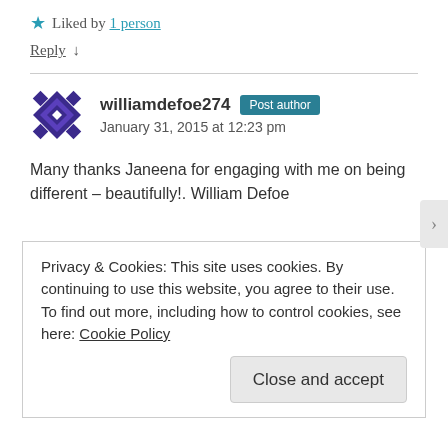★ Liked by 1 person
Reply ↓
williamdefoe274 Post author
January 31, 2015 at 12:23 pm
Many thanks Janeena for engaging with me on being different – beautifully!. William Defoe
Privacy & Cookies: This site uses cookies. By continuing to use this website, you agree to their use.
To find out more, including how to control cookies, see here: Cookie Policy